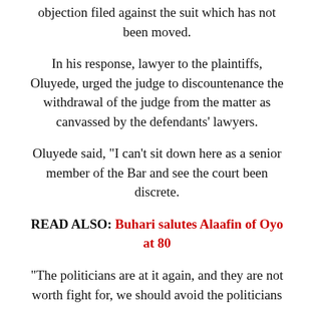objection filed against the suit which has not been moved.
In his response, lawyer to the plaintiffs, Oluyede, urged the judge to discountenance the withdrawal of the judge from the matter as canvassed by the defendants’ lawyers.
Oluyede said, “I can’t sit down here as a senior member of the Bar and see the court been discrete.
READ ALSO: Buhari salutes Alaafin of Oyo at 80
“The politicians are at it again, and they are not worth fight for, we should avoid the politicians